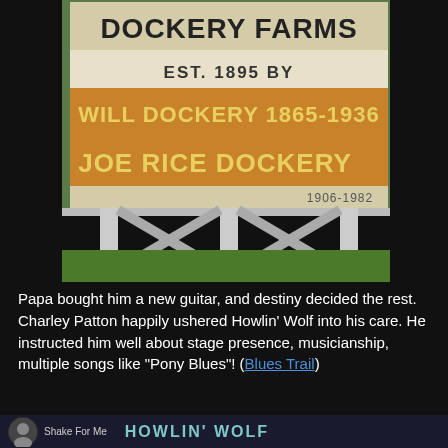[Figure (photo): Photo of Dockery Farms sign reading 'DOCKERY FARMS EST. 1895 BY WILL DOCKERY 1865-1936 JOE RICE DOCKERY 1906-1982', with wooden X-frame structure beneath and green lawn in foreground.]
Papa bought him a new guitar, and destiny decided the rest. Charley Patton happily ushered Howlin' Wolf into his care. He instructed him well about stage presence, musicianship, multiple songs like "Pony Blues"! (Blues Trail)
[Figure (screenshot): Bottom bar showing a circular portrait photo of a person and text reading 'Shake For Me' alongside 'HOWLIN' WOLF' in teal letters on dark background.]